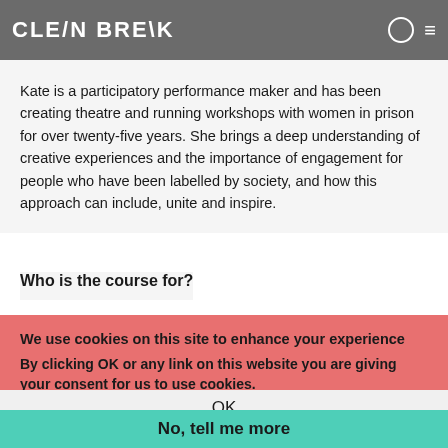of the criminal justice system and women at risk of entering it) wi... so in attendance and bring their own reflections of Clean Break's work to the process.
Kate is a participatory performance maker and has been creating theatre and running workshops with women in prison for over twenty-five years. She brings a deep understanding of creative experiences and the importance of engagement for people who have been labelled by society, and how this approach can include, unite and inspire.
Who is the course for?
We use cookies on this site to enhance your experience
By clicking OK or any link on this website you are giving your consent for us to use cookies.
theatre artists, group work practitioners and/or applied theatre
OK
No, tell me more